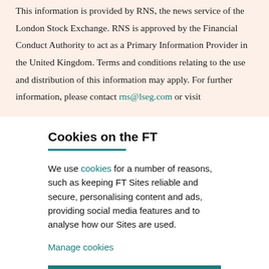This information is provided by RNS, the news service of the London Stock Exchange. RNS is approved by the Financial Conduct Authority to act as a Primary Information Provider in the United Kingdom. Terms and conditions relating to the use and distribution of this information may apply. For further information, please contact rns@lseg.com or visit
Cookies on the FT
We use cookies for a number of reasons, such as keeping FT Sites reliable and secure, personalising content and ads, providing social media features and to analyse how our Sites are used.
Manage cookies
Accept & continue